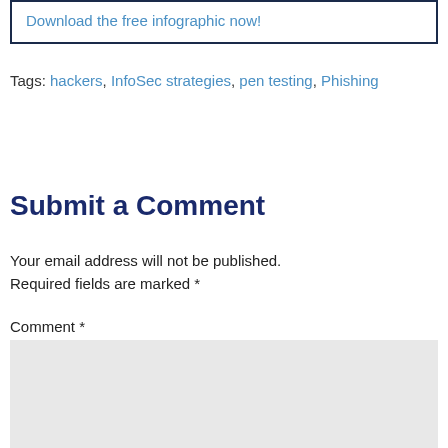Download the free infographic now!
Tags: hackers, InfoSec strategies, pen testing, Phishing
Submit a Comment
Your email address will not be published. Required fields are marked *
Comment *